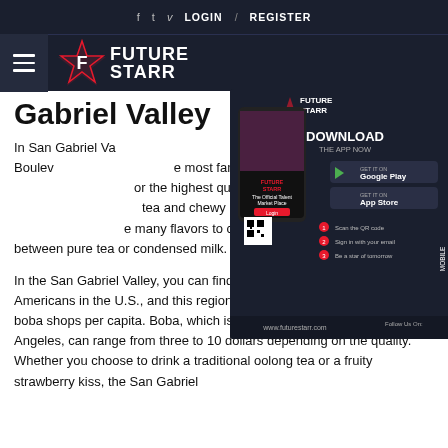f  t  v  LOGIN  /  REGISTER
[Figure (logo): Future Starr logo with hamburger menu on dark navy background]
Gabriel Valley
[Figure (screenshot): Future Starr app download advertisement overlay showing mobile app screenshot, DOWNLOAD THE APP NOW text, Google Play and App Store buttons, QR code, and www.futurestarr.com URL]
In San Gabriel Valley, boba shops that line Valley Boulevard are the most famous, winning an International award for the highest quality boba. Here you can find tea and chewy pearls in a classic drink with many flavors to complement your taste, choosing between pure tea or condensed milk.
In the San Gabriel Valley, you can find the largest concentration of Asian-Americans in the U.S., and this region also boasts the highest number of boba shops per capita. Boba, which is often a popular drink in Los Angeles, can range from three to 10 dollars depending on the quality. Whether you choose to drink a traditional oolong tea or a fruity strawberry kiss, the San Gabriel